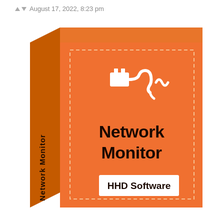August 17, 2022, 8:23 pm
[Figure (illustration): 3D software product box for 'Network Monitor' by HHD Software. Orange box with dashed border on front face, white network/plug icon at top center, bold black text 'Network Monitor' in center, white label 'HHD Software' at bottom. Side panel shows 'Network Monitor' text rotated vertically.]